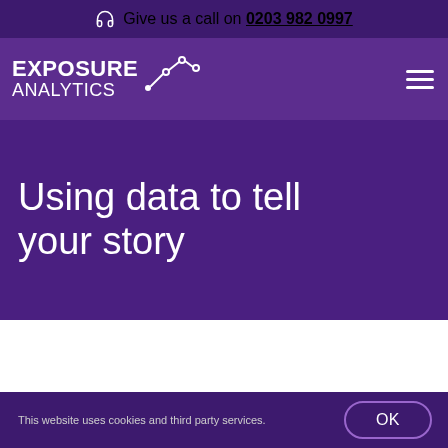Give us a call on 0203 982 0997
EXPOSURE ANALYTICS
Using data to tell your story
This website uses cookies and third party services.